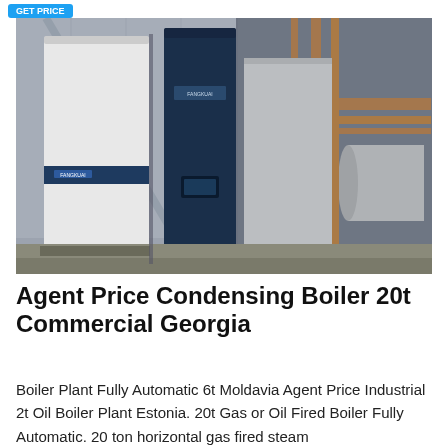[Figure (photo): Industrial condensing boiler units — tall white and dark navy vertical boiler cabinets installed inside a factory or plant building, with copper pipes and cylindrical storage tanks visible in the background on a concrete floor.]
Agent Price Condensing Boiler 20t Commercial Georgia
Boiler Plant Fully Automatic 6t Moldavia Agent Price Industrial 2t Oil Boiler Plant Estonia. 20t Gas or Oil Fired Boiler Fully Automatic. 20 ton horizontal gas fired steam